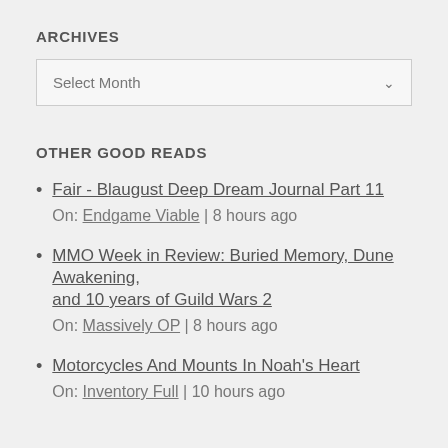ARCHIVES
Select Month
OTHER GOOD READS
Fair - Blaugust Deep Dream Journal Part 11
On: Endgame Viable | 8 hours ago
MMO Week in Review: Buried Memory, Dune Awakening, and 10 years of Guild Wars 2
On: Massively OP | 8 hours ago
Motorcycles And Mounts In Noah's Heart
On: Inventory Full | 10 hours ago